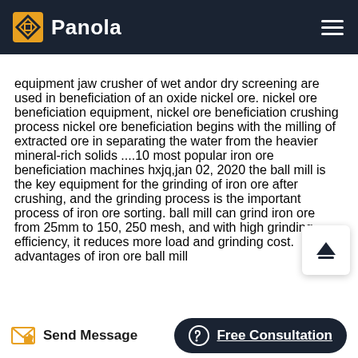Panola
equipment jaw crusher of wet andor dry screening are used in beneficiation of an oxide nickel ore. nickel ore beneficiation equipment, nickel ore beneficiation crushing process nickel ore beneficiation begins with the milling of extracted ore in separating the water from the heavier mineral-rich solids ....10 most popular iron ore beneficiation machines hxjq,jan 02, 2020 the ball mill is the key equipment for the grinding of iron ore after crushing, and the grinding process is the important process of iron ore sorting. ball mill can grind iron ore from 25mm to 150, 250 mesh, and with high grinding efficiency, it reduces more load and grinding cost. advantages of iron ore ball mill
Send Message   Free Consultation